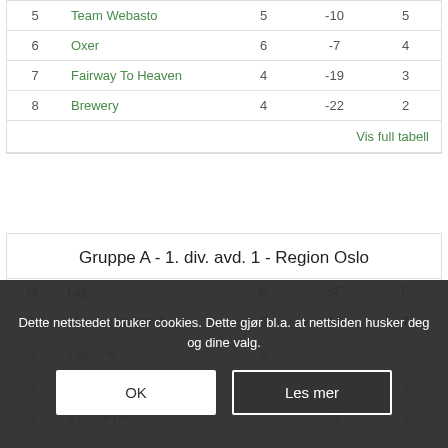| Nr | Lag | M | SF | P |
| --- | --- | --- | --- | --- |
| 5 | Team Webasto | 5 | -10 | 5 |
| 6 | Oxer | 6 | -7 | 4 |
| 7 | Fairway To Heaven | 4 | -19 | 3 |
| 8 | Brewery | 4 | -22 | 2 |
Vis full tabell
Gruppe A - 1. div. avd. 1 - Region Oslo
| Nr | Lag | M | SF | P |
| --- | --- | --- | --- | --- |
| 1 | VVS Kontakten 1 | 5 | 16 | 7 |
| 2 | Tigerline | 5 | 10 | 7 |
| 3 | Kremfløte | 4 | 8 | 6 |
| 4 | 2 tunge men... |  | -2 | 6 |
| 5 | Steinrik | 5 | -32 | 0 |
Dette nettstedet bruker cookies. Dette gjør bl.a. at nettsiden husker deg og dine valg.